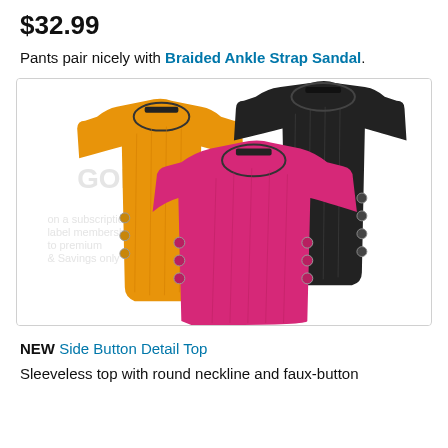$32.99
Pants pair nicely with Braided Ankle Strap Sandal.
[Figure (photo): Three sleeveless ribbed tops with side faux-button detail shown in orange, black, and pink/magenta colors]
NEW Side Button Detail Top
Sleeveless top with round neckline and faux-button closure along the sides, creating a unique detail.